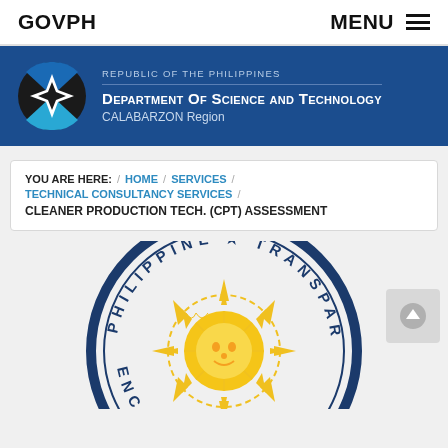GOVPH   MENU
[Figure (logo): Department of Science and Technology CALABARZON Region logo with REPUBLIC OF THE PHILIPPINES text and DOST emblem on blue banner background]
YOU ARE HERE: / HOME / SERVICES / TECHNICAL CONSULTANCY SERVICES / CLEANER PRODUCTION TECH. (CPT) ASSESSMENT
[Figure (illustration): Philippine Transparency Seal - circular seal with navy blue border showing text PHILIPPINE TRANSPARENCY around the rim and a golden sun with rays in the center, partially cropped at bottom]